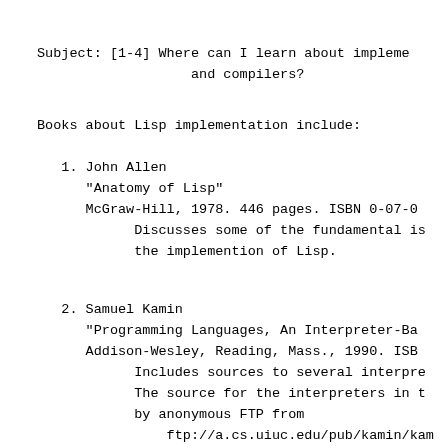Subject: [1-4] Where can I learn about implementations and compilers?
Books about Lisp implementation include:
1. John Allen
"Anatomy of Lisp"
McGraw-Hill, 1978. 446 pages. ISBN 0-07-0...
Discusses some of the fundamental issues in the implemention of Lisp.
2. Samuel Kamin
"Programming Languages, An Interpreter-Ba...
Addison-Wesley, Reading, Mass., 1990. ISB...
Includes sources to several interpre...
The source for the interpreters in t...
by anonymous FTP from
    ftp://a.cs.uiuc.edu/pub/kamin/kam...
Tim Budd reimplemented the interprete...